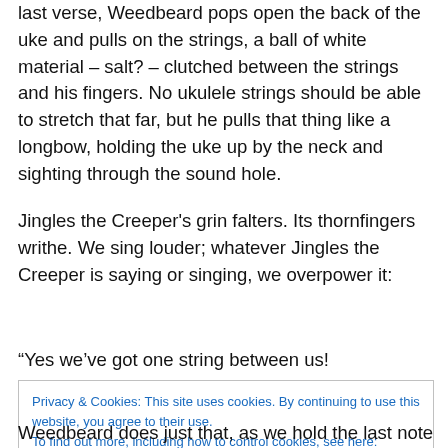last verse, Weedbeard pops open the back of the uke and pulls on the strings, a ball of white material – salt? – clutched between the strings and his fingers. No ukulele strings should be able to stretch that far, but he pulls that thing like a longbow, holding the uke up by the neck and sighting through the sound hole.
Jingles the Creeper's grin falters. Its thornfingers writhe. We sing louder; whatever Jingles the Creeper is saying or singing, we overpower it:
“Yes we’ve got one string between us!
Privacy & Cookies: This site uses cookies. By continuing to use this website, you agree to their use.
To find out more, including how to control cookies, see here: Cookie Policy
Weedbeard does just that, as we hold the last note in tasty